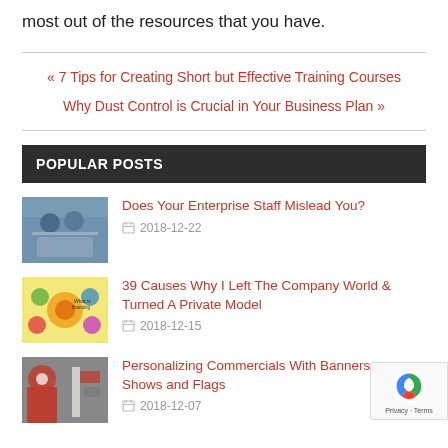most out of the resources that you have.
« 7 Tips for Creating Short but Effective Training Courses
Why Dust Control is Crucial in Your Business Plan »
POPULAR POSTS
[Figure (photo): Two businessmen looking at a laptop]
Does Your Enterprise Staff Mislead You?
2018-12-22
[Figure (photo): Colorful branding concept diagram with 'What is Branding' text]
39 Causes Why I Left The Company World & Turned A Private Model
2018-12-15
[Figure (photo): Marketing/advertising image with target and flags]
Personalizing Commercials With Banners, Shows and Flags
2018-12-07